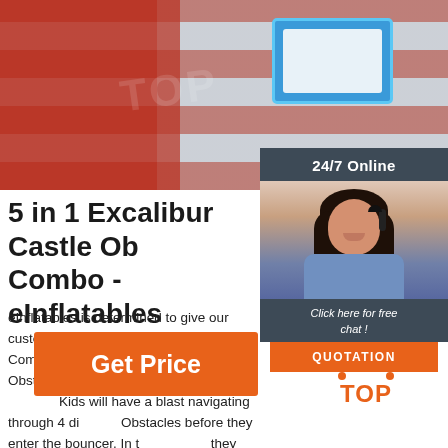[Figure (photo): Photo of inflatable obstacle course/combo unit with red and blue inflatable structures viewed from above]
[Figure (infographic): 24/7 Online chat widget with photo of smiling woman with headset, 'Click here for free chat!' text, and orange QUOTATION button]
5 in 1 Excalibur Castle Obstacle Combo - eInflatables
eInflatables is determined to give our customers the best when it comes to Combos. that's why we've included an 18' Obstacle Course into our 5 in 1 Obstacle Combo. Kids will have a blast navigating through 4 different Obstacles before they enter the bouncer. In the bouncer they can jump or shoot hoops.
[Figure (other): Orange 'Get Price' button]
[Figure (logo): TOP logo with orange dot triangle and TOP text in orange]